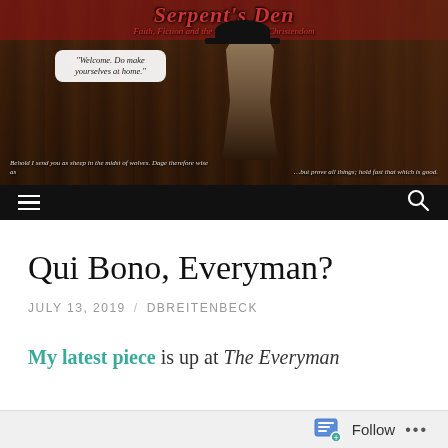[Figure (screenshot): Serpent's Den blog header banner with dark atmospheric background, bookshelves, a figure in period costume, speech bubble saying 'Welcome. Do make yourselves at home.', and Bible verse text at bottom.]
Qui Bono, Everyman?
JULY 13, 2019 / DBREITENBECK
My latest piece is up at The Everyman